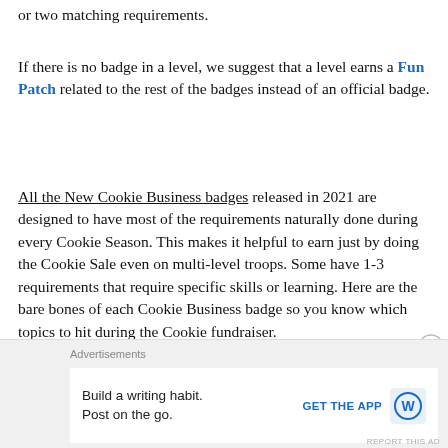or two matching requirements.
If there is no badge in a level, we suggest that a level earns a Fun Patch related to the rest of the badges instead of an official badge.
All the New Cookie Business badges released in 2021 are designed to have most of the requirements naturally done during every Cookie Season. This makes it helpful to earn just by doing the Cookie Sale even on multi-level troops. Some have 1-3 requirements that require specific skills or learning. Here are the bare bones of each Cookie Business badge so you know which topics to hit during the Cookie fundraiser.
Advertisements
Build a writing habit. Post on the go.
GET THE APP
REPORT THIS AD